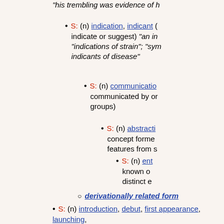"his trembling was evidence of h...
S: (n) indication, indicant (... indicate or suggest) "an in... "indications of strain"; "sym... indicants of disease"
S: (n) communication (... communicated by or... groups)
S: (n) abstracti... concept forme... features from s...
S: (n) ent... known o... distinct e...
derivationally related form
S: (n) introduction, debut, first appearance, launching, ... beginning something new) "they looked forward to the... line"
S: (n) entry, accounting entry, ledger entry (a written re... transaction)
S: (n) submission, entry (something (manuscripts or a... or estimates or works of art of all genres etc.) submitte... (as in a competition)) "several of his submissions were... was the date of submission of your proposal?"
S: (n) entrance, entranceway, entryway, entry, entree...